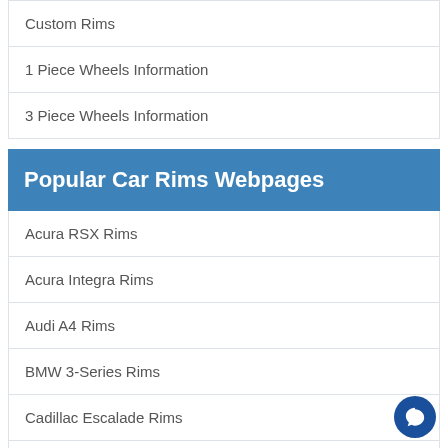Custom Rims
1 Piece Wheels Information
3 Piece Wheels Information
Popular Car Rims Webpages
Acura RSX Rims
Acura Integra Rims
Audi A4 Rims
BMW 3-Series Rims
Cadillac Escalade Rims
Chevy Cavalier Rims